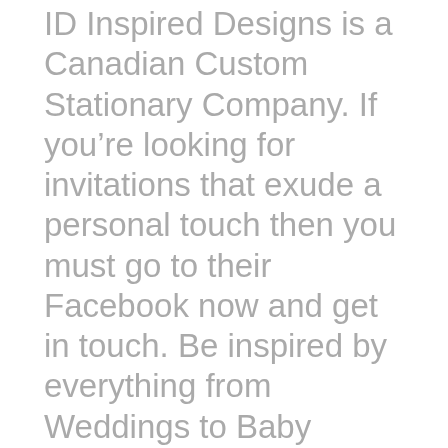ID Inspired Designs is a Canadian Custom Stationary Company. If you're looking for invitations that exude a personal touch then you must go to their Facebook now and get in touch. Be inspired by everything from Weddings to Baby Showers to your precious little one's birthday invitations! The work speaks for itself.